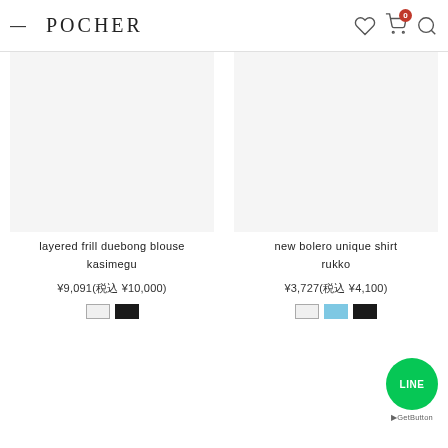POCHER
[Figure (photo): Product image placeholder for layered frill duebong blouse kasimegu]
layered frill duebong blouse kasimegu
¥9,091(税込 ¥10,000)
[Figure (photo): Product image placeholder for new bolero unique shirt rukko]
new bolero unique shirt rukko
¥3,727(税込 ¥4,100)
[Figure (logo): LINE messenger button green circle with LINE text and GetButton label]